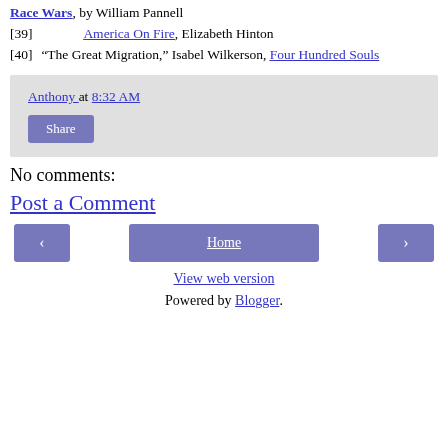Race Wars, by William Pannell [39]
America On Fire, Elizabeth Hinton [40]
“The Great Migration,” Isabel Wilkerson, Four Hundred Souls
Anthony at 8:32 AM
Share
No comments:
Post a Comment
Home
View web version
Powered by Blogger.